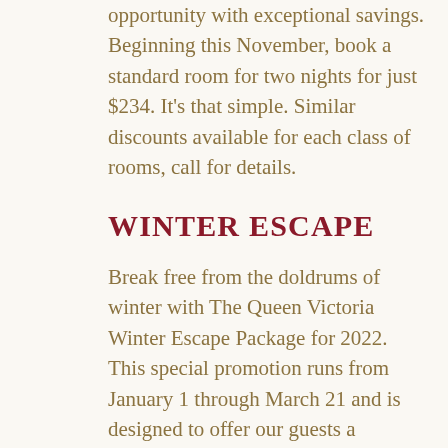opportunity with exceptional savings. Beginning this November, book a standard room for two nights for just $234. It's that simple. Similar discounts available for each class of rooms, call for details.
WINTER ESCAPE
Break free from the doldrums of winter with The Queen Victoria Winter Escape Package for 2022. This special promotion runs from January 1 through March 21 and is designed to offer our guests a reprieve from the doldrums a BOGO glass of wine and bottle discount voucher at Natali Winery plus, a free cheese tray for two. $350.  There you have it. Upcoming events and great hotel deals for winter in Cape May 2022. Call or book your